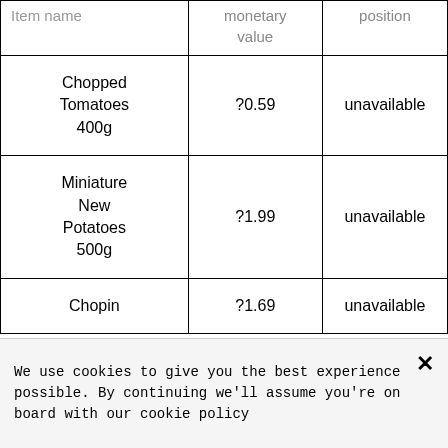| Item name | monetary value | position |
| --- | --- | --- |
| Chopped Tomatoes 400g | ?0.59 | unavailable |
| Miniature New Potatoes 500g | ?1.99 | unavailable |
| Chopin | ?1.69 | unavailable |
We use cookies to give you the best experience possible. By continuing we'll assume you're on board with our cookie policy